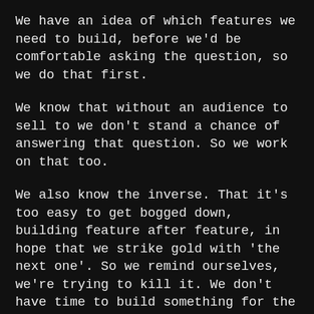We have an idea of which features we need to build, before we'd be comfortable asking the question, so we do that first.
We know that without an audience to sell to we don't stand a chance of answering that question. So we work on that too.
We also know the inverse. That it's too easy to get bogged down, building feature after feature, in hope that we strike gold with 'the next one'. So we remind ourselves, we're trying to kill it. We don't have time to build something for the sake of it. We need to get to the answer now.
Avoiding perfectionism is easy too. We know there's no need to present a polished application to anyone. Bugs are fine. Shipping early iterations of a feature is a-ok. For as long as it's out there and teaching us what we need to know. Along as we're taking steps towards the elusive